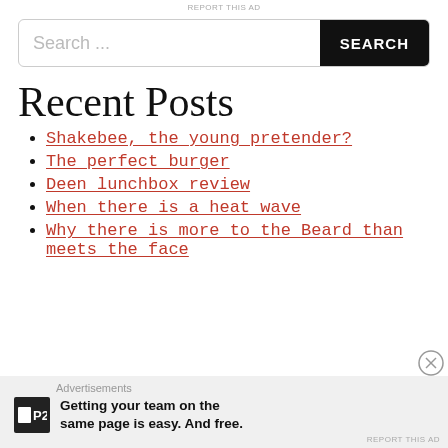REPORT THIS AD
Search ...
Recent Posts
Shakebee, the young pretender?
The perfect burger
Deen lunchbox review
When there is a heat wave
Why there is more to the Beard than meets the face
Advertisements
Getting your team on the same page is easy. And free.
REPORT THIS AD